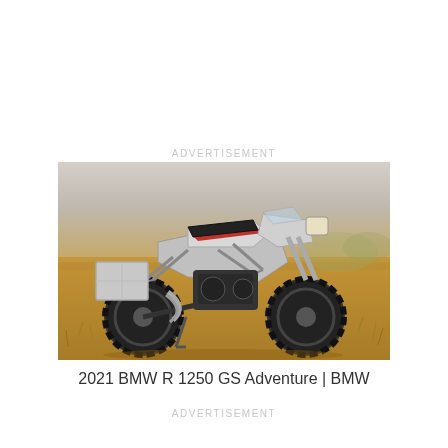ADVERTISEMENT
[Figure (photo): BMW R 1250 GS Adventure motorcycle photographed outdoors in a dry golden grass field. The large adventure motorcycle features silver bodywork with blue and red stripes, large knobby tires, aluminium panniers on the left side, crash bars, and a front fork setup. The background shows dry prairie/grassland scenery.]
2021 BMW R 1250 GS Adventure | BMW
ADVERTISEMENT